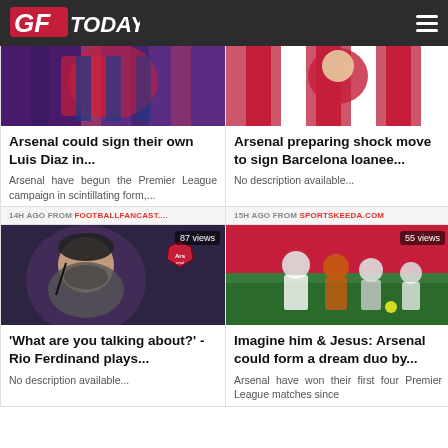GFToday
[Figure (photo): Football player in Crystal Palace kit - blue and red stripes]
Arsenal could sign their own Luis Diaz in...
Arsenal have begun the Premier League campaign in scintillating form,...
14H AGO FROM FOOTBALLFANCAST....
[Figure (photo): Football player in Atletico Madrid red and white stripes]
Arsenal preparing shock move to sign Barcelona loanee...
No description available...
15H AGO FROM SPORTSKEEDA.COM
[Figure (photo): Rio Ferdinand with Arsenal badge overlay - 87 views]
'What are you talking about?' - Rio Ferdinand plays...
No description available...
[Figure (photo): Arsenal players warming up on red pitch - 55 views]
Imagine him & Jesus: Arsenal could form a dream duo by...
Arsenal have won their first four Premier League matches since